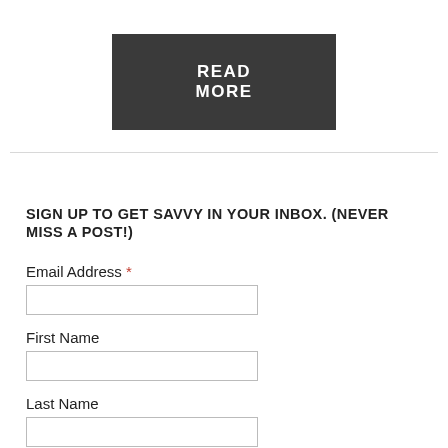READ MORE
SIGN UP TO GET SAVVY IN YOUR INBOX. (NEVER MISS A POST!)
Email Address *
First Name
Last Name